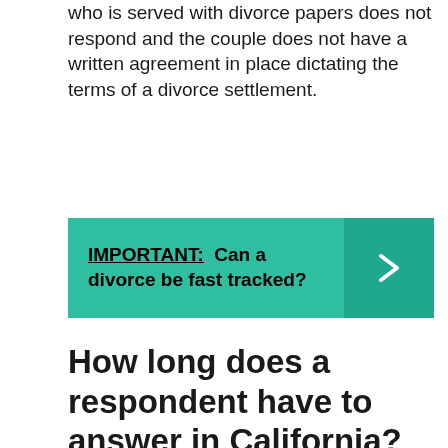who is served with divorce papers does not respond and the couple does not have a written agreement in place dictating the terms of a divorce settlement.
IMPORTANT:  Can a divorce be fast tracked?
How long does a respondent have to answer in California?
If you decide to file a response, you have 30 days from the date you were served with the Summons and Petition to respond.
What happens if you...